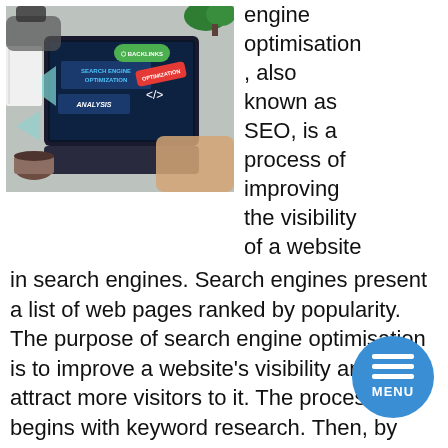[Figure (photo): Overhead view of a person typing on a laptop with SEO-related overlay graphics including labels for BACKLINKS, OPTIMIZATION, SEARCH ENGINE OPTIMIZATION, and ANALYSIS on the screen. A cup of coffee and notebook are also visible.]
engine optimisation , also known as SEO, is a process of improving the visibility of a website in search engines. Search engines present a list of web pages ranked by popularity. The purpose of search engine optimisation is to improve a website's visibility and attract more visitors to it. The process begins with keyword research. Then, by examining competitor websites and what potential customers are searching for, a professional can determine what terms they should use in their content.
The optimisation process can include building sitemaps